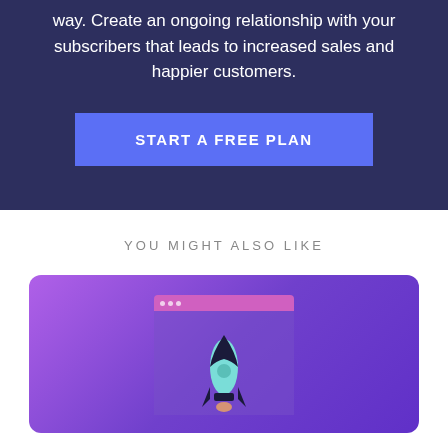way. Create an ongoing relationship with your subscribers that leads to increased sales and happier customers.
START A FREE PLAN
YOU MIGHT ALSO LIKE
[Figure (illustration): Illustration of a rocket launching from a browser window on a purple gradient background card]